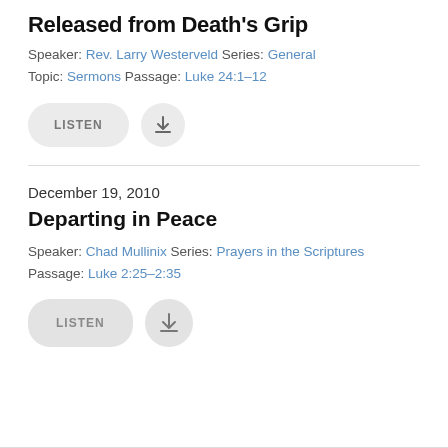Released from Death's Grip
Speaker: Rev. Larry Westerveld Series: General Topic: Sermons Passage: Luke 24:1–12
December 19, 2010
Departing in Peace
Speaker: Chad Mullinix Series: Prayers in the Scriptures Passage: Luke 2:25–2:35